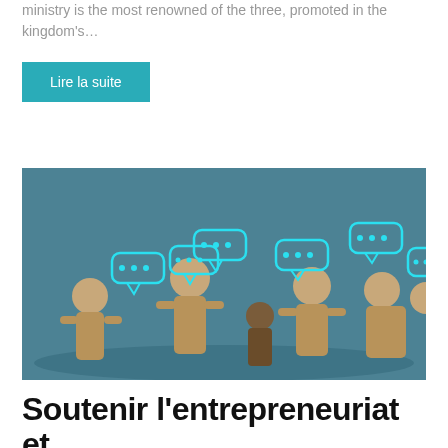ministry is the most renowned of the three, promoted in the kingdom's…
Lire la suite
[Figure (photo): Wooden figurines representing people with cyan speech bubble icons above them, on a teal/grey background, illustrating communication or networking concept.]
Soutenir l'entrepreneuriat et